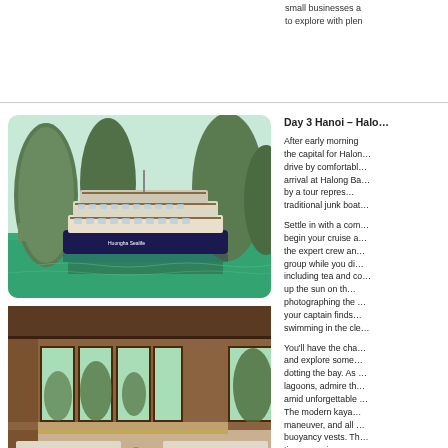small businesses a… to explore with plen…
Day 3 Hanoi – Halo…
[Figure (photo): A large white multi-deck traditional junk cruise boat sailing in Halong Bay with dramatic limestone karst mountains and green water in the background]
[Figure (photo): Interior of a luxury cruise cabin with wooden paneling, large windows showing limestone islands outside, white sofas with gold cushions and flower arrangements]
After early morning … the capital for Halon… drive by comfortabl… arrival at Halong Ba… by a tour repres… traditional junk boat…
Settle in with a com… begin your cruise a… the expert crew an… group while you di… including tea and co… up the sun on th… photographing the … your captain finds… swimming in the cle…
You'll have the cha… and explore some… dotting the bay. As … lagoons, admire th… amid unforgettable … The modern kaya… maneuver, and all … buoyancy vests. Th… times, serving as a… it.